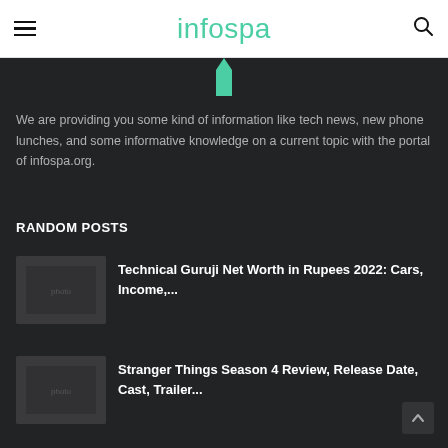infospa
[Figure (illustration): Teal/green bottle or flask shape partially visible at top center of dark content area]
We are providing you some kind of information like tech news, new phone lunches, and some informative knowledge on a current topic with the portal of infospa.org.
RANDOM POSTS
[Figure (photo): Thumbnail image for Technical Guruji Net Worth article, dark toned photo]
Technical Guruji Net Worth in Rupees 2022: Cars, Income,...
[Figure (photo): Thumbnail image for Stranger Things Season 4 article, dark toned photo]
Stranger Things Season 4 Review, Release Date, Cast, Trailer...
The Best Web Hosting Providers in 2022